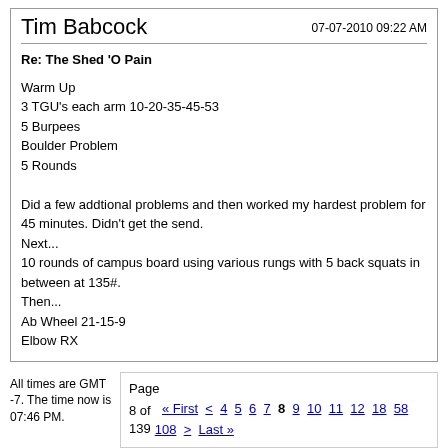Tim Babcock
07-07-2010 09:22 AM
Re: The Shed 'O Pain
Warm Up
3 TGU's each arm 10-20-35-45-53
5 Burpees
Boulder Problem
5 Rounds
Did a few addtional problems and then worked my hardest problem for 45 minutes. Didn't get the send.
Next...
10 rounds of campus board using various rungs with 5 back squats in between at 135#.
Then...
Ab Wheel 21-15-9
Elbow RX
All times are GMT -7. The time now is 07:46 PM.
Page 8 of 139   « First  <  4  5  6  7  8  9  10  11  12  18  58  108  >  Last »
Show 40 post(s) from this thread on one page
CrossFit is a registered trademark of CrossFit Inc.